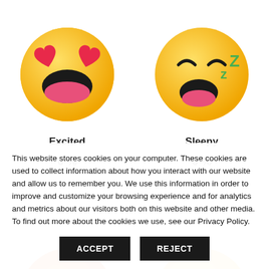[Figure (illustration): Excited emoji face - yellow smiley with heart eyes and open mouth]
Excited
0 %
[Figure (illustration): Sleepy emoji face - yellow smiley with closed eyes, open mouth, and green ZZ]
Sleepy
0 %
[Figure (illustration): Angry emoji face - red-orange gradient smiley with furrowed brows]
Angry
0 %
[Figure (illustration): Surprise emoji face - yellow smiley with wide open mouth and eyes]
Surprise
0 %
This website stores cookies on your computer. These cookies are used to collect information about how you interact with our website and allow us to remember you. We use this information in order to improve and customize your browsing experience and for analytics and metrics about our visitors both on this website and other media. To find out more about the cookies we use, see our Privacy Policy.
ACCEPT
REJECT